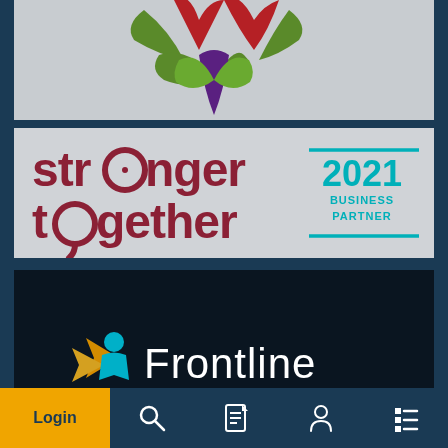[Figure (logo): Partial colorful decorative logo/emblem with green, red, and purple geometric shapes on a light grey background]
[Figure (logo): Stronger Together 2021 Business Partner badge/logo. Red text reading 'stronger together' with teal '2021 BUSINESS PARTNER' badge on grey background]
[Figure (logo): Frontline Recruitment logo on dark/black background with gold and teal figure icon and white text reading 'Frontline']
Login
[Figure (other): Navigation bar with Login (amber), search, document, person, and list icons]